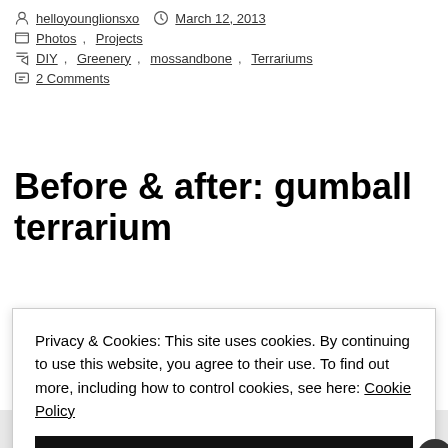helloyounglionsxo  March 12, 2013
Photos, Projects
DIY, Greenery, mossandbone, Terrariums
2 Comments
Before & after: gumball terrarium
Privacy & Cookies: This site uses cookies. By continuing to use this website, you agree to their use. To find out more, including how to control cookies, see here: Cookie Policy
Close and accept